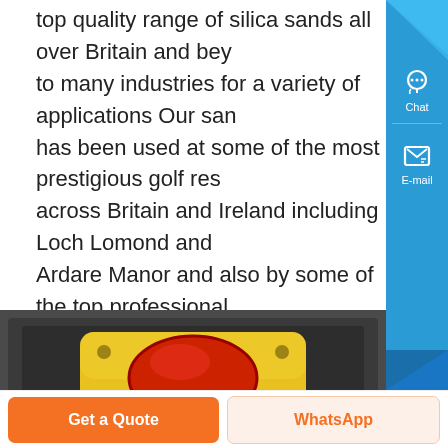top quality range of silica sands all over Britain and beyond to many industries for a variety of applications Our sand has been used at some of the most prestigious golf resorts across Britain and Ireland including Loch Lomond and Ardare Manor and also by some of the top professional.
[Figure (photo): Close-up photo of a yellow industrial push-button box with a large red mushroom emergency stop button, mounted in a dark metal enclosure]
[Figure (screenshot): Right sidebar navigation panel with blue background containing Chat (headset icon), E-mail (notepad icon), Top (up arrow icon) buttons, and a close X button at the bottom]
Get a Quote
WhatsApp